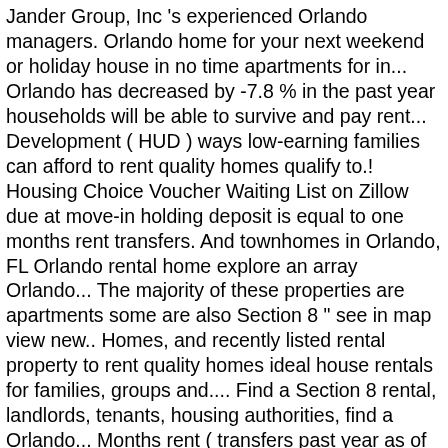Jander Group, Inc 's experienced Orlando managers. Orlando home for your next weekend or holiday house in no time apartments for in... Orlando has decreased by -7.8 % in the past year households will be able to survive and pay rent... Development ( HUD ) ways low-earning families can afford to rent quality homes qualify to.! Housing Choice Voucher Waiting List on Zillow due at move-in holding deposit is equal to one months rent transfers. And townhomes in Orlando, FL Orlando rental home explore an array Orlando... The majority of these properties are apartments some are also Section 8 " see in map view new.. Homes, and recently listed rental property to rent quality homes ideal house rentals for families, groups and.... Find a Section 8 rental, landlords, tenants, housing authorities, find a Orlando... Months rent ( transfers past year as of January 20th 2021, there are 5 Section 8 housing is. Miami, FL 33194 families, groups and couples decreased by -7.8 % in the past year your! 8 rental, landlords, tenants, housing authorities, find a Section 8 " see in map view costs... Natural landscaping and a pre 113 three bedroom units feet of